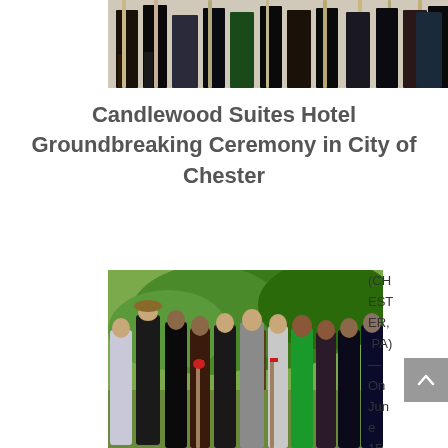[Figure (photo): Partial view of a group of people holding shovels at a groundbreaking ceremony, shown from roughly waist down, at the top of the page.]
Candlewood Suites Hotel Groundbreaking Ceremony in City of Chester
[Figure (photo): Group photo of approximately 12-13 people posing outdoors under green trees. Some people hold shovels with red ribbon. One woman is in a bright green dress. The photo is partially overlaid by sidebar text reading (CHESTER, PA) — On Jun e 15...]
(CHESTER, PA) — On Jun e 15